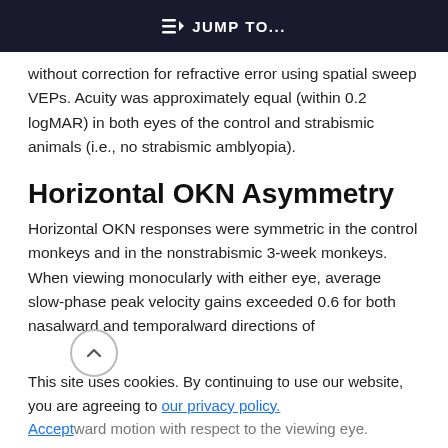⇒ JUMP TO...
without correction for refractive error using spatial sweep VEPs. Acuity was approximately equal (within 0.2 logMAR) in both eyes of the control and strabismic animals (i.e., no strabismic amblyopia).
Horizontal OKN Asymmetry
Horizontal OKN responses were symmetric in the control monkeys and in the nonstrabismic 3-week monkeys. When viewing monocularly with either eye, average slow-phase peak velocity gains exceeded 0.6 for both nasalward and temporalward directions of
This site uses cookies. By continuing to use our website, you are agreeing to our privacy policy. Accept
nasalward motion with respect to the viewing eye.